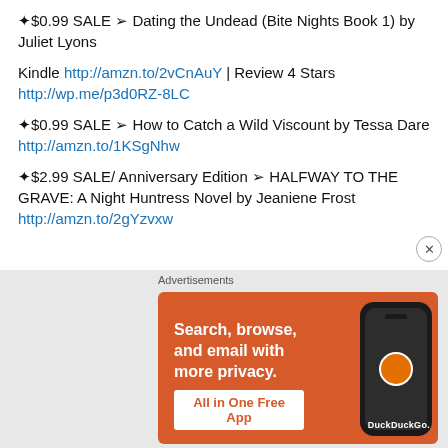✦$0.99 SALE ➢ Dating the Undead (Bite Nights Book 1) by Juliet Lyons
Kindle http://amzn.to/2vCnAuY | Review 4 Stars http://wp.me/p3d0RZ-8LC
✦$0.99 SALE ➢ How to Catch a Wild Viscount by Tessa Dare http://amzn.to/1KSgNhw
✦$2.99 SALE/ Anniversary Edition ➢ HALFWAY TO THE GRAVE: A Night Huntress Novel by Jeaniene Frost http://amzn.to/2gYzvxw
[Figure (infographic): DuckDuckGo advertisement banner: orange background with text 'Search, browse, and email with more privacy. All in One Free App' and an image of a smartphone with DuckDuckGo logo]